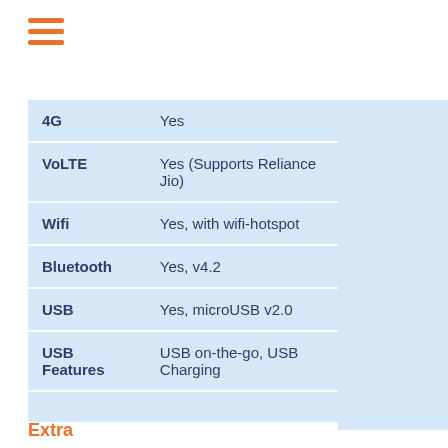| Feature | Value |
| --- | --- |
| 4G | Yes |
| VoLTE | Yes (Supports Reliance Jio) |
| Wifi | Yes, with wifi-hotspot |
| Bluetooth | Yes, v4.2 |
| USB | Yes, microUSB v2.0 |
| USB Features | USB on-the-go, USB Charging |
Extra